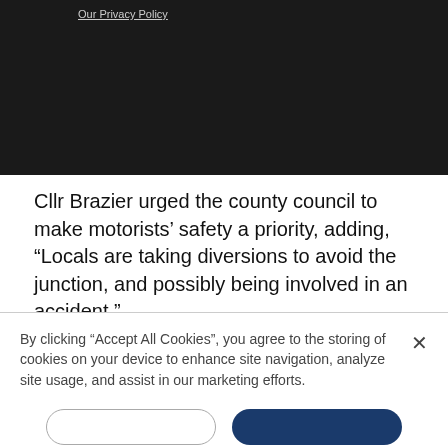[Figure (screenshot): Dark banner area at top of page with navigation/header screenshot]
Our Privacy Policy
Cllr Brazier urged the county council to make motorists' safety a priority, adding, “Locals are taking diversions to avoid the junction, and possibly being involved in an accident.”
A county council spokesman confirmed the longabout signals trial report is still being finalised.
He said: “We will recommend that the most effective
By clicking “Accept All Cookies”, you agree to the storing of cookies on your device to enhance site navigation, analyze site usage, and assist in our marketing efforts.